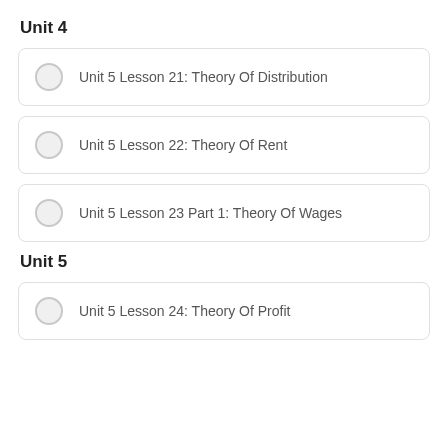Unit 4
Unit 5 Lesson 21: Theory Of Distribution
Unit 5 Lesson 22: Theory Of Rent
Unit 5 Lesson 23 Part 1: Theory Of Wages
Unit 5
Unit 5 Lesson 24: Theory Of Profit